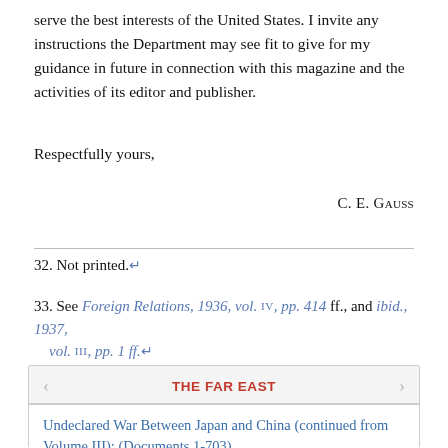serve the best interests of the United States. I invite any instructions the Department may see fit to give for my guidance in future in connection with this magazine and the activities of its editor and publisher.
Respectfully yours,
C. E. Gauss
32. Not printed.↵
33. See Foreign Relations, 1936, vol. IV, pp. 414 ff., and ibid., 1937, vol. III, pp. 1 ff.↵
THE FAR EAST
Undeclared War Between Japan and China (continued from Volume III): (Documents 1-703)
China: (Documents 704-856)